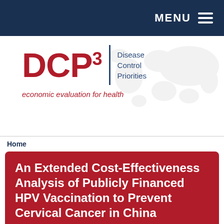MENU
[Figure (logo): DCP3 Disease Control Priorities logo with world map background and tagline 'economic evaluation for health']
Home
An Extended Cost-Effectiveness Analysis of Publicly Financed HPV Vaccination to Prevent Cervical Cancer in China
Authors: Carol Levin, Monisha Sharma, Zachary Olson, Stéphane Verguet, Ju-Fang Shi, Shao-Ming Wang, You-Lin Qiao, Dean...